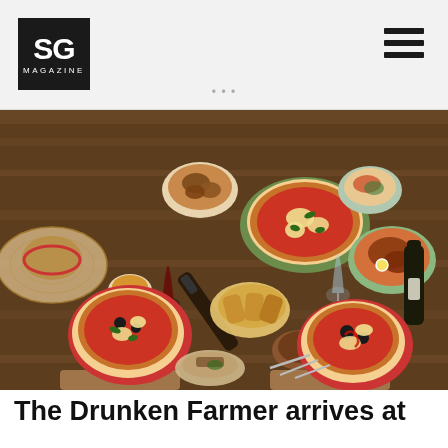SG MAGAZINE
[Figure (photo): Overhead flatlay photo of a rustic wooden dining table spread with multiple Neapolitan-style pizzas on decorative plates, various dishes including roasted chicken, small bowls of food, wine glasses, a wine bottle, cutlery, and a straw hat on the left side.]
The Drunken Farmer arrives at